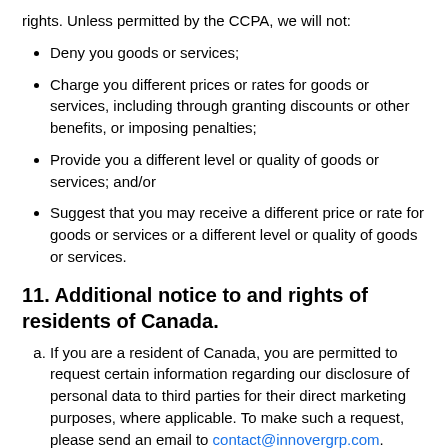rights. Unless permitted by the CCPA, we will not:
Deny you goods or services;
Charge you different prices or rates for goods or services, including through granting discounts or other benefits, or imposing penalties;
Provide you a different level or quality of goods or services; and/or
Suggest that you may receive a different price or rate for goods or services or a different level or quality of goods or services.
11. Additional notice to and rights of residents of Canada.
If you are a resident of Canada, you are permitted to request certain information regarding our disclosure of personal data to third parties for their direct marketing purposes, where applicable. To make such a request, please send an email to contact@innovergrp.com.